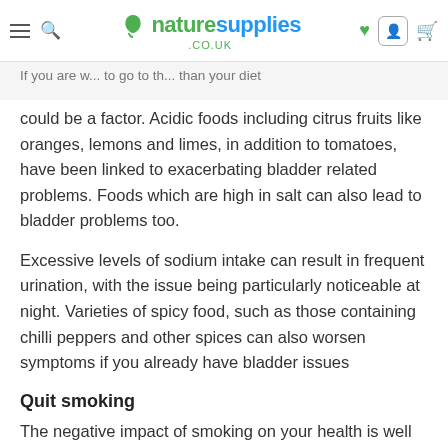naturesupplies.co.uk
If you are... to go to th... than your diet could be a factor. Acidic foods including citrus fruits like oranges, lemons and limes, in addition to tomatoes, have been linked to exacerbating bladder related problems. Foods which are high in salt can also lead to bladder problems too.
Excessive levels of sodium intake can result in frequent urination, with the issue being particularly noticeable at night. Varieties of spicy food, such as those containing chilli peppers and other spices can also worsen symptoms if you already have bladder issues
Quit smoking
The negative impact of smoking on your health is well